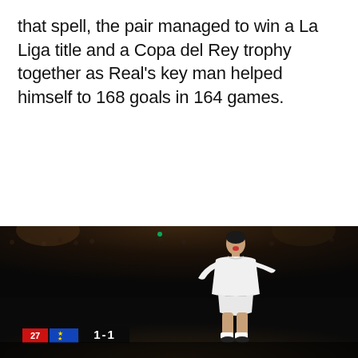that spell, the pair managed to win a La Liga title and a Copa del Rey trophy together as Real's key man helped himself to 168 goals in 164 games.
[Figure (photo): A football player in a white Real Madrid jersey on the pitch at night, with stadium crowd in the background and a scoreboard showing 1-1 in the lower left corner.]